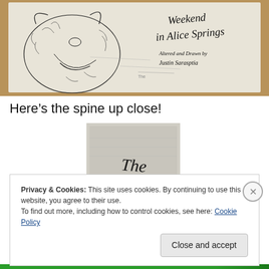[Figure (photo): Photo of a book cover laying flat on a wooden surface, showing a pencil/ink drawing of a cat or fox head snarling, with handwritten text reading 'Weekend in Alice Springs, Altered and Drawn by Justin Sarasptia' visible on the right side]
Here’s the spine up close!
[Figure (photo): Close-up photo of a book spine showing the word 'The' written in black ink on a light grey/white background]
Privacy & Cookies: This site uses cookies. By continuing to use this website, you agree to their use.
To find out more, including how to control cookies, see here: Cookie Policy
Close and accept